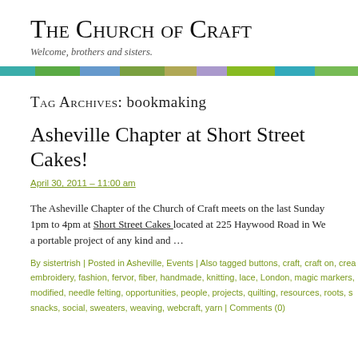The Church of Craft
Welcome, brothers and sisters.
[Figure (other): Decorative multicolor horizontal bar with segments of teal, green, blue, olive, khaki, lavender, lime, and cyan]
Tag Archives: bookmaking
Asheville Chapter at Short Street Cakes!
April 30, 2011 – 11:00 am
The Asheville Chapter of the Church of Craft meets on the last Sunday 1pm to 4pm at Short Street Cakes located at 225 Haywood Road in We a portable project of any kind and …
By sistertrish | Posted in Asheville, Events | Also tagged buttons, craft, craft on, crea embroidery, fashion, fervor, fiber, handmade, knitting, lace, London, magic markers, modified, needle felting, opportunities, people, projects, quilting, resources, roots, s snacks, social, sweaters, weaving, webcraft, yarn | Comments (0)